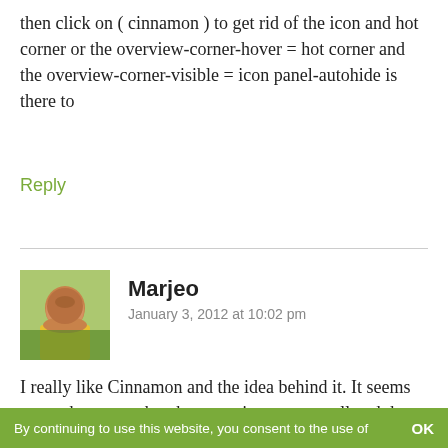then click on ( cinnamon ) to get rid of the icon and hot corner or the overview-corner-hover = hot corner and the overview-corner-visible = icon panel-autohide is there to
Reply
Marjeo
January 3, 2012 at 10:02 pm
I really like Cinnamon and the idea behind it. It seems to me, however, that the menu icons are small and the spaces between them are wide. Is it possible to make it more balanced?
I understand that 1.1.4 will be dealing with themes and configuration, (see 37,54, etc.) I can't wait to see the next development of Cinnamon
By continuing to use this website, you consent to the use of   OK